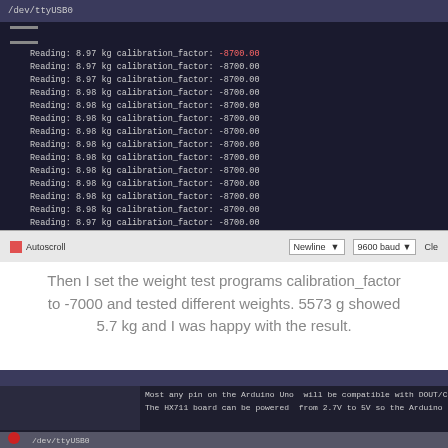[Figure (screenshot): Arduino Serial Monitor screenshot showing repeated lines: Reading: 8.97 kg calibration_factor: -8700.00 and Reading: 8.98 kg calibration_factor: -8700.00, with status bar showing Autoscroll, Newline, 9600 baud options]
Then I set the weight test programs calibration_factor to -7000 and tested different weights. 5573 g showed 5.7 kg and I was happy with the result.
[Figure (screenshot): Arduino Serial Monitor screenshot showing text: Most any pin on the Arduino Uno will be compatible with DOUT/CLK. The HX711 board can be powered from 2.7V to 5V so the Arduino 5V port]